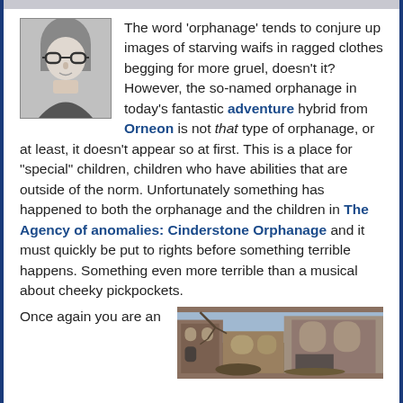The word 'orphanage' tends to conjure up images of starving waifs in ragged clothes begging for more gruel, doesn't it? However, the so-named orphanage in today's fantastic adventure hybrid from Orneon is not that type of orphanage, or at least, it doesn't appear so at first. This is a place for "special" children, children who have abilities that are outside of the norm. Unfortunately something has happened to both the orphanage and the children in The Agency of anomalies: Cinderstone Orphanage and it must quickly be put to rights before something terrible happens. Something even more terrible than a musical about cheeky pickpockets.
[Figure (photo): Black and white photo of a woman with glasses]
Once again you are an
[Figure (photo): Photo of a ruined or dilapidated stone building exterior]